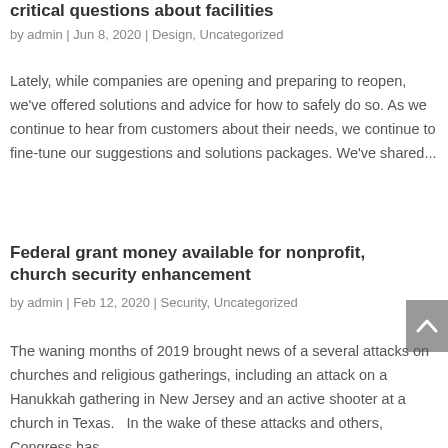critical questions about facilities
by admin | Jun 8, 2020 | Design, Uncategorized
Lately, while companies are opening and preparing to reopen, we've offered solutions and advice for how to safely do so. As we continue to hear from customers about their needs, we continue to fine-tune our suggestions and solutions packages. We've shared...
Federal grant money available for nonprofit, church security enhancement
by admin | Feb 12, 2020 | Security, Uncategorized
The waning months of 2019 brought news of a several attacks on churches and religious gatherings, including an attack on a Hanukkah gathering in New Jersey and an active shooter at a church in Texas.   In the wake of these attacks and others, Congress has...